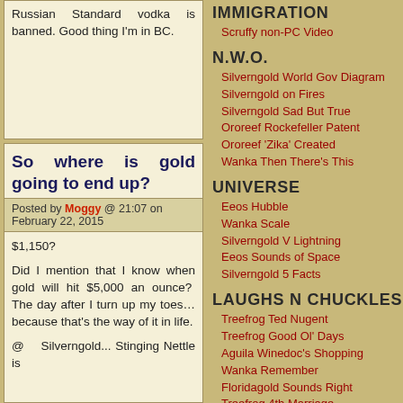Russian Standard vodka is banned. Good thing I'm in BC.
So where is gold going to end up?
Posted by Moggy @ 21:07 on February 22, 2015
$1,150?

Did I mention that I know when gold will hit $5,000 an ounce? The day after I turn up my toes…because that's the way of it in life.

@ Silverngold... Stinging Nettle is
IMMIGRATION
Scruffy non-PC Video
N.W.O.
Silverngold World Gov Diagram
Silverngold on Fires
Silverngold Sad But True
Ororeef Rockefeller Patent
Ororeef 'Zika' Created
Wanka Then There's This
UNIVERSE
Eeos Hubble
Wanka Scale
Silverngold V Lightning
Eeos Sounds of Space
Silverngold 5 Facts
LAUGHS N CHUCKLES
Treefrog Ted Nugent
Treefrog Good Ol' Days
Aguila Winedoc's Shopping
Wanka Remember
Floridagold Sounds Right
Treefrog 4th Marriage
Auandag Football
Scruffy True Story?
Goldielocks Parking Tickets
Scruffy Buy Apple
Scruffy Fact-Resistant
Scruffy Geezer Life